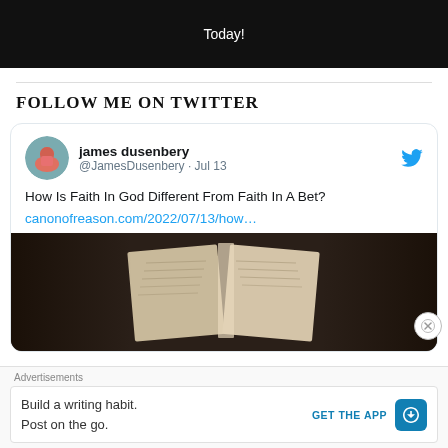[Figure (screenshot): Dark banner with white text 'Today!']
FOLLOW ME ON TWITTER
[Figure (screenshot): Tweet card from james dusenbery (@JamesDusenbery · Jul 13) with text 'How Is Faith In God Different From Faith In A Bet?' and link canonofreason.com/2022/07/13/how… with book image below]
Advertisements
Build a writing habit. Post on the go.
GET THE APP